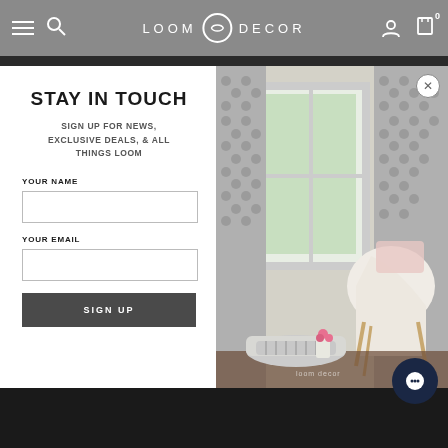LOOM DECOR — navigation bar with hamburger menu, search, logo, account, and cart icons
STAY IN TOUCH
SIGN UP FOR NEWS, EXCLUSIVE DEALS, & ALL THINGS LOOM
YOUR NAME
YOUR EMAIL
SIGN UP
[Figure (photo): Interior room photo showing patterned grey curtains by a window, a white chair with a draped blanket and pink pillow, and a small vase of pink roses on the floor.]